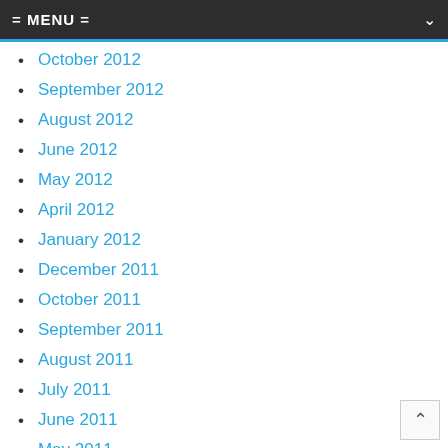= MENU =
October 2012
September 2012
August 2012
June 2012
May 2012
April 2012
January 2012
December 2011
October 2011
September 2011
August 2011
July 2011
June 2011
May 2011
April 2011